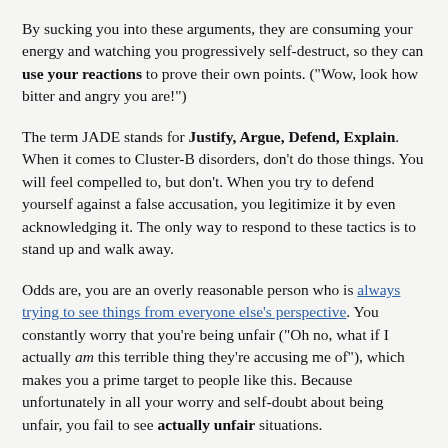By sucking you into these arguments, they are consuming your energy and watching you progressively self-destruct, so they can use your reactions to prove their own points. ("Wow, look how bitter and angry you are!")
The term JADE stands for Justify, Argue, Defend, Explain. When it comes to Cluster-B disorders, don't do those things. You will feel compelled to, but don't. When you try to defend yourself against a false accusation, you legitimize it by even acknowledging it. The only way to respond to these tactics is to stand up and walk away.
Odds are, you are an overly reasonable person who is always trying to see things from everyone else's perspective. You constantly worry that you're being unfair ("Oh no, what if I actually am this terrible thing they're accusing me of"), which makes you a prime target to people like this. Because unfortunately in all your worry and self-doubt about being unfair, you fail to see actually unfair situations.
I've written a new book about long-term healing. Whole Again is ...